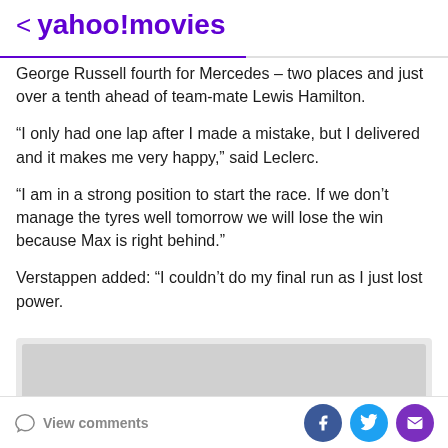< yahoo!movies
George Russell fourth for Mercedes – two places and just over a tenth ahead of team-mate Lewis Hamilton.
“I only had one lap after I made a mistake, but I delivered and it makes me very happy,” said Leclerc.
“I am in a strong position to start the race. If we don’t manage the tyres well tomorrow we will lose the win because Max is right behind.”
Verstappen added: “I couldn’t do my final run as I just lost power.
[Figure (other): Advertisement placeholder box with grey background]
View comments